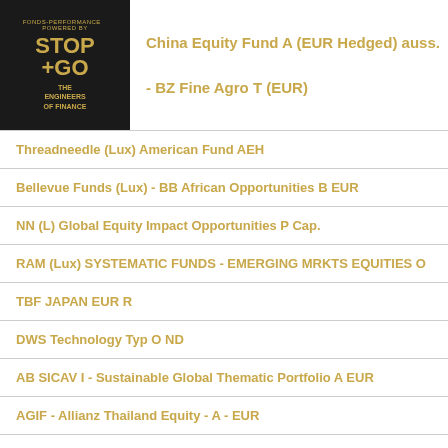[Figure (logo): STOP+GO powered by THE ENGINEERS OF FINANCE logo, black background with gold text]
China Equity Fund A (EUR Hedged) auss.
- BZ Fine Agro T (EUR)
Threadneedle (Lux) American Fund AEH
Bellevue Funds (Lux) - BB African Opportunities B EUR
NN (L) Global Equity Impact Opportunities P Cap.
RAM (Lux) SYSTEMATIC FUNDS - EMERGING MRKTS EQUITIES O
TBF JAPAN EUR R
DWS Technology Typ O ND
AB SICAV I - Sustainable Global Thematic Portfolio A EUR
AGIF - Allianz Thailand Equity - A - EUR
AGIF - Allianz Global Equity Unconstrained - AT - USD
Vontobel Fund - Global Equity Income H-EUR (hedged)
Invesco Global Structured Equity Fund A (EUR Hedged)
AGIF - Allianz Finance... EUR